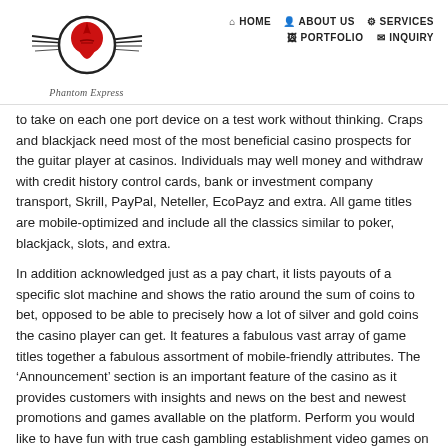HOME  ABOUT US  SERVICES  PORTFOLIO  INQUIRY
[Figure (logo): Phantom Express logo with red spartan helmet and wing lines, with cursive text 'Phantom Express' below]
to take on each one port device on a test work without thinking. Craps and blackjack need most of the most beneficial casino prospects for the guitar player at casinos. Individuals may well money and withdraw with credit history control cards, bank or investment company transport, Skrill, PayPal, Neteller, EcoPayz and extra. All game titles are mobile-optimized and include all the classics similar to poker, blackjack, slots, and extra.
In addition acknowledged just as a pay chart, it lists payouts of a specific slot machine and shows the ratio around the sum of coins to bet, opposed to be able to precisely how a lot of silver and gold coins the casino player can get. It features a fabulous vast array of game titles together a fabulous assortment of mobile-friendly attributes. The ‘Announcement’ section is an important feature of the casino as it provides customers with insights and news on the best and newest promotions and games avallable on the platform. Perform you would like to have fun with true cash gambling establishment video games on